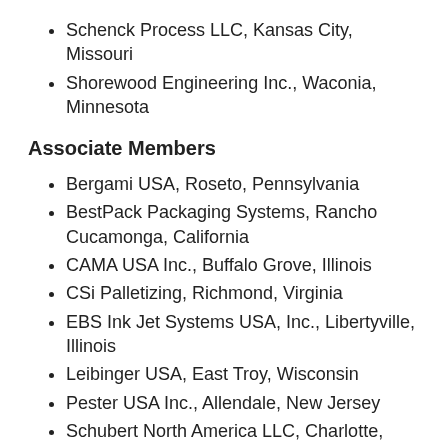Schenck Process LLC, Kansas City, Missouri
Shorewood Engineering Inc., Waconia, Minnesota
Associate Members
Bergami USA, Roseto, Pennsylvania
BestPack Packaging Systems, Rancho Cucamonga, California
CAMA USA Inc., Buffalo Grove, Illinois
CSi Palletizing, Richmond, Virginia
EBS Ink Jet Systems USA, Inc., Libertyville, Illinois
Leibinger USA, East Troy, Wisconsin
Pester USA Inc., Allendale, New Jersey
Schubert North America LLC, Charlotte, North Carolina